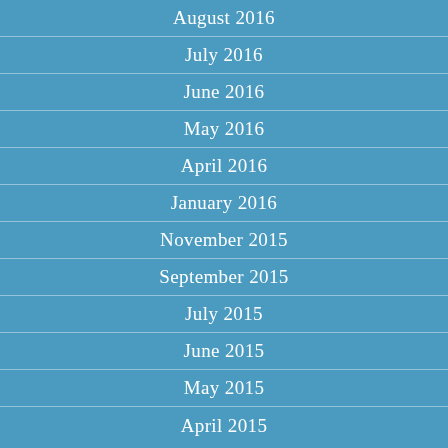August 2016
July 2016
June 2016
May 2016
April 2016
January 2016
November 2015
September 2015
July 2015
June 2015
May 2015
April 2015